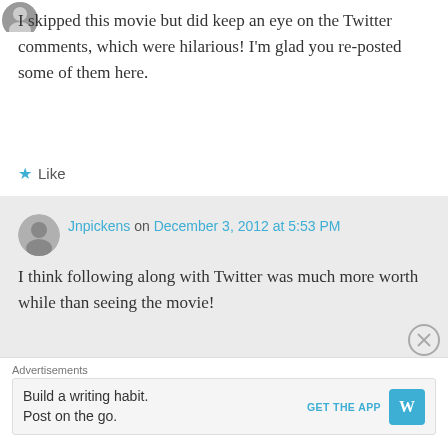[Figure (photo): Partial avatar image at top-left]
I skipped this movie but did keep an eye on the Twitter comments, which were hilarious! I'm glad you re-posted some of them here.
Like
Jnpickens on December 3, 2012 at 5:53 PM
I think following along with Twitter was much more worth while than seeing the movie!
Like
Advertisements
Build a writing habit. Post on the go.
GET THE APP